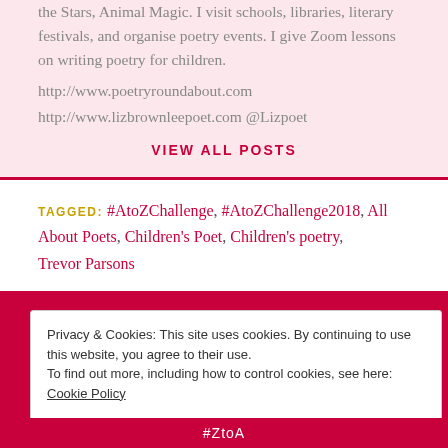the Stars, Animal Magic. I visit schools, libraries, literary festivals, and organise poetry events. I give Zoom lessons on writing poetry for children. http://www.poetryroundabout.com http://www.lizbrownleepoet.com @Lizpoet
VIEW ALL POSTS
TAGGED: #AtoZChallenge, #AtoZChallenge2018, All About Poets, Children's Poet, Children's poetry, Trevor Parsons
Privacy & Cookies: This site uses cookies. By continuing to use this website, you agree to their use. To find out more, including how to control cookies, see here: Cookie Policy Close and accept
#ZtoA